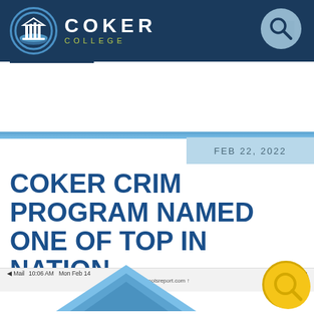[Figure (logo): Coker College logo with circular emblem and text on dark navy blue header bar, with magnifying glass search icon on the right]
FEB 22, 2022
COKER CRIM PROGRAM NAMED ONE OF TOP IN NATION
[Figure (screenshot): Mobile phone status bar showing Mail, 10:06 AM, Mon Feb 14, onlineschoolsreport.com, with navigation dots and battery indicator]
[Figure (illustration): Partial blue geometric triangle/mountain shape at bottom of page, with yellow circular button overlay in bottom right corner]